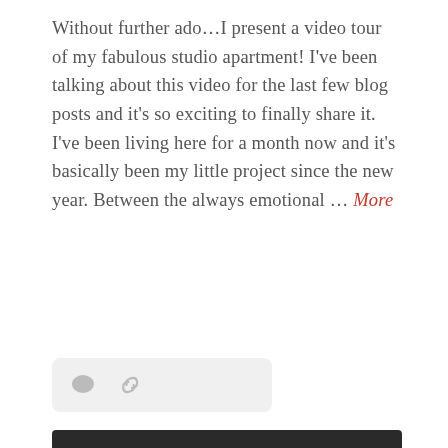Without further ado...I present a video tour of my fabulous studio apartment! I've been talking about this video for the last few blog posts and it's so exciting to finally share it. I've been living here for a month now and it's basically been my little project since the new year. Between the always emotional … More
[Figure (other): Icon bar with comment bubble and link/share icons on a light grey rounded rectangle background]
[Figure (photo): A photograph of stacked cardboard moving boxes, the top box labeled 'SHOES' in handwriting, with a blue FRAGILE label visible, and blue fabric items visible on the left side.]